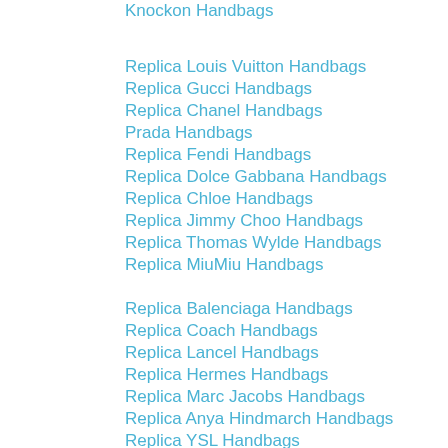Knockon Handbags
Replica Louis Vuitton Handbags
Replica Gucci Handbags
Replica Chanel Handbags
Prada Handbags
Replica Fendi Handbags
Replica Dolce Gabbana Handbags
Replica Chloe Handbags
Replica Jimmy Choo Handbags
Replica Thomas Wylde Handbags
Replica MiuMiu Handbags
Replica Balenciaga Handbags
Replica Coach Handbags
Replica Lancel Handbags
Replica Hermes Handbags
Replica Marc Jacobs Handbags
Replica Anya Hindmarch Handbags
Replica YSL Handbags
Replica Mulberry Handbags
Replica Givenchy Handbags
Replica Valentino Handbags